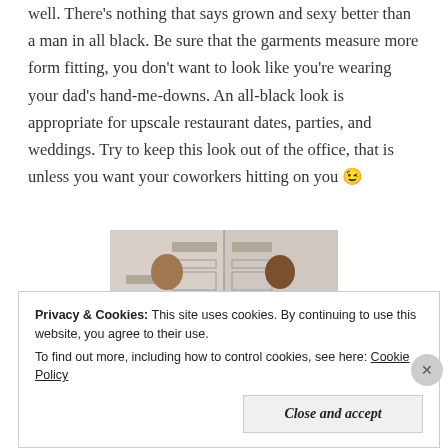well. There's nothing that says grown and sexy better than a man in all black. Be sure that the garments measure more form fitting, you don't want to look like you're wearing your dad's hand-me-downs. An all-black look is appropriate for upscale restaurant dates, parties, and weddings. Try to keep this look out of the office, that is unless you want your coworkers hitting on you 😉
[Figure (photo): Two men in all-black suits at what appears to be a Grammy Awards event backdrop]
Privacy & Cookies: This site uses cookies. By continuing to use this website, you agree to their use. To find out more, including how to control cookies, see here: Cookie Policy
Close and accept